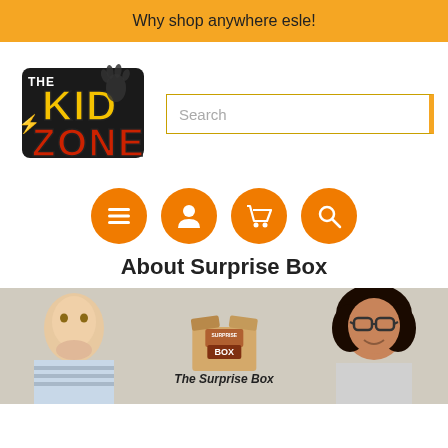Why shop anywhere esle!
[Figure (logo): The Kid Zone logo with yellow 'KID' text and red 'ZONE' text with a hand print icon]
[Figure (other): Search input field]
[Figure (infographic): Four orange circle icon buttons: menu (hamburger), user/person, shopping cart, and search/magnifier]
About Surprise Box
[Figure (photo): Photo of two children flanking a 'Surprise Box' cardboard box in the center, with text 'The Surprise Box' at the bottom]